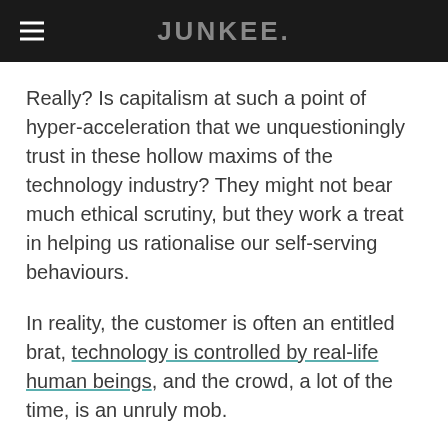JUNKEE.
Really? Is capitalism at such a point of hyper-acceleration that we unquestioningly trust in these hollow maxims of the technology industry? They might not bear much ethical scrutiny, but they work a treat in helping us rationalise our self-serving behaviours.
In reality, the customer is often an entitled brat, technology is controlled by real-life human beings, and the crowd, a lot of the time, is an unruly mob.
Game Of Thrones: The Piracy Phenomenon
Case in point: Game of Thrones! What I wouldn't give to never hear about Game of Fucking Thrones